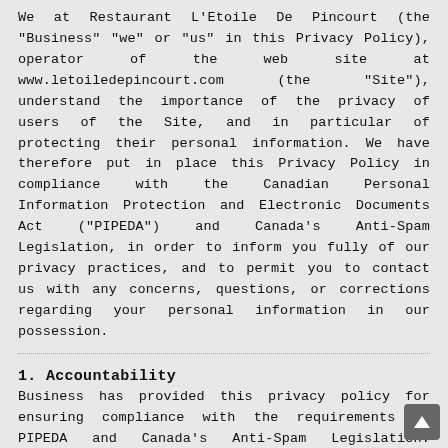We at Restaurant L'Etoile De Pincourt (the "Business" "we" or "us" in this Privacy Policy), operator of the web site at www.letoiledepincourt.com (the "Site"), understand the importance of the privacy of users of the Site, and in particular of protecting their personal information. We have therefore put in place this Privacy Policy in compliance with the Canadian Personal Information Protection and Electronic Documents Act ("PIPEDA") and Canada's Anti-Spam Legislation, in order to inform you fully of our privacy practices, and to permit you to contact us with any concerns, questions, or corrections regarding your personal information in our possession.
1. Accountability
Business has provided this privacy policy for ensuring compliance with the requirements of PIPEDA and Canada's Anti-Spam Legislation. Should you have any questions regarding this policy or concerns with respect to Business's compliance with the requirements of PIPEDA or Canada's Anti-Spam